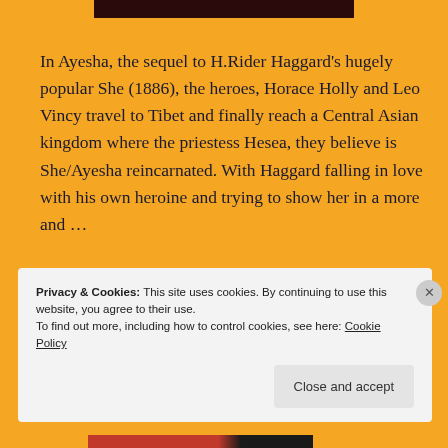[Figure (photo): Dark rectangular image at top of page, partially visible]
In Ayesha, the sequel to H.Rider Haggard's hugely popular She (1886), the heroes, Horace Holly and Leo Vincy travel to Tibet and finally reach a Central Asian kingdom where the priestess Hesea, they believe is She/Ayesha reincarnated. With Haggard falling in love with his own heroine and trying to show her in a more and …
Continue reading
Privacy & Cookies: This site uses cookies. By continuing to use this website, you agree to their use.
To find out more, including how to control cookies, see here: Cookie Policy
Close and accept